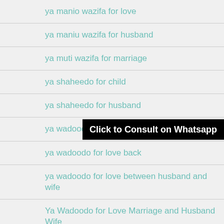ya manio wazifa for love
ya maniu wazifa for husband
ya muti wazifa for marriage
ya shaheedo for child
ya shaheedo for husband
ya wadoodo for husband
ya wadoodo for love back
ya wadoodo for love between husband and wife
Ya Wadoodo for Love Marriage and Husband Wife
ya wadoodo for marriage